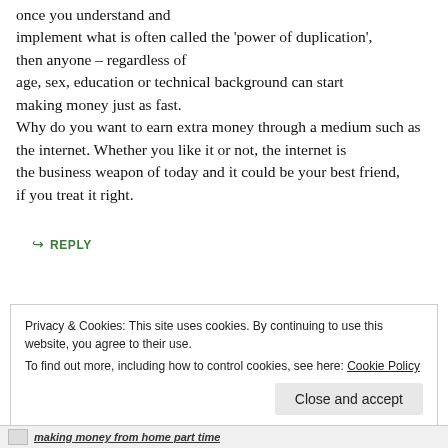once you understand and implement what is often called the 'power of duplication', then anyone – regardless of age, sex, education or technical background can start making money just as fast. Why do you want to earn extra money through a medium such as the internet. Whether you like it or not, the internet is the business weapon of today and it could be your best friend, if you treat it right.
↪ REPLY
Privacy & Cookies: This site uses cookies. By continuing to use this website, you agree to their use. To find out more, including how to control cookies, see here: Cookie Policy
making money from home part time